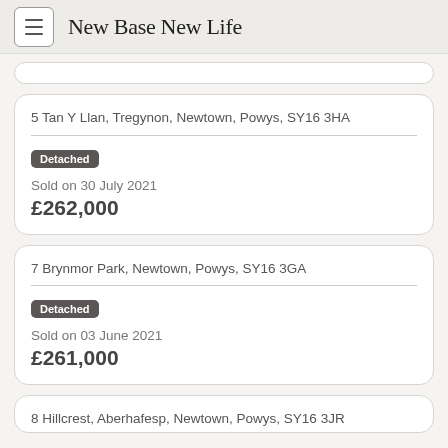New Base New Life
5 Tan Y Llan, Tregynon, Newtown, Powys, SY16 3HA — Detached — Sold on 30 July 2021 — £262,000
7 Brynmor Park, Newtown, Powys, SY16 3GA — Detached — Sold on 03 June 2021 — £261,000
8 Hillcrest, Aberhafesp, Newtown, Powys, SY16 3JR